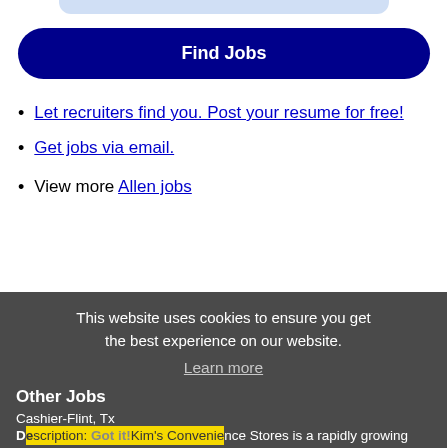[Figure (other): Light blue rounded bar at top]
Find Jobs
Let recruiters find you. Post your resume for free!
Get jobs via email.
View more Allen jobs
This website uses cookies to ensure you get the best experience on our website.
Learn more
Other Jobs
Cashier-Flint, Tx
Description: Kim's Convenience Stores is a rapidly growing convenience store chain, currently having 20 locations with two more opening soon. We are searching for friendly, energetic, and highly motivated candidates (more...)
Got it!